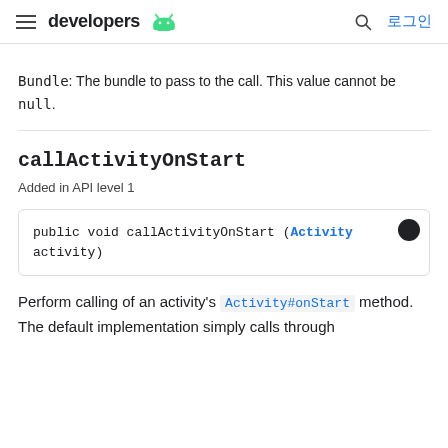developers 로그인
Bundle: The bundle to pass to the call. This value cannot be null.
callActivityOnStart
Added in API level 1
public void callActivityOnStart (Activity activity)
Perform calling of an activity's Activity#onStart method. The default implementation simply calls through to that method.